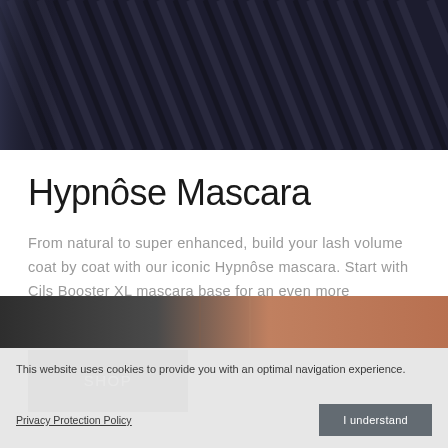[Figure (photo): Dark background product hero image showing mascara tubes/packaging in dark navy/black tones with diagonal lines and metallic accents]
Hypnôse Mascara
From natural to super enhanced, build your lash volume coat by coat with our iconic Hypnôse mascara. Start with Cils Booster XL mascara base for an even more voluminous effect.
SHOP
[Figure (photo): Partial view of product packaging in warm brown/copper tones at bottom of page]
This website uses cookies to provide you with an optimal navigation experience.
Privacy Protection Policy
I understand